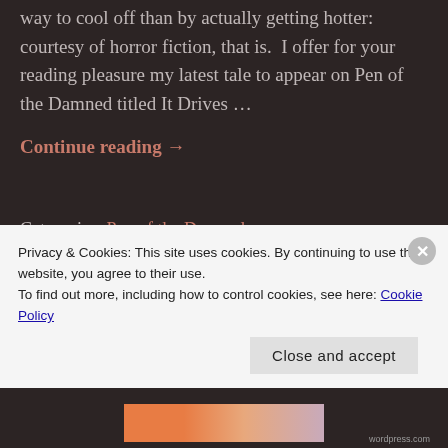way to cool off than by actually getting hotter: courtesy of horror fiction, that is.  I offer for your reading pleasure my latest tale to appear on Pen of the Damned titled It Drives …
Continue reading →
Categories: Pen of the Damned, stories • Tags: dark horror, free horror fiction, Horror, Horror fiction, It Drives Me
Privacy & Cookies: This site uses cookies. By continuing to use this website, you agree to their use.
To find out more, including how to control cookies, see here: Cookie Policy
Close and accept